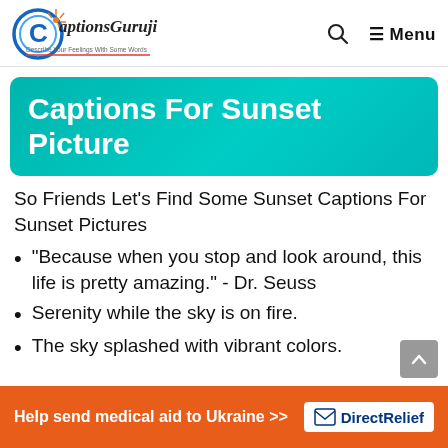CaptionsGuruji — Search — Menu
Captions For Sunset Picture
So Friends Let's Find Some Sunset Captions For Sunset Pictures
“Because when you stop and look around, this life is pretty amazing.” - Dr. Seuss
Serenity while the sky is on fire.
The sky splashed with vibrant colors.
Help send medical aid to Ukraine >> DirectRelief